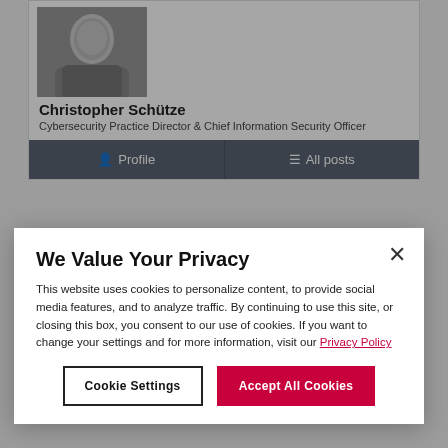[Figure (photo): Black and white portrait photo of Christopher Schütze in a dark suit]
Christopher Schütze
Cybersecurity Practice Director & Chief Information Security Officer
Profile
All posts
How can we help you
We Value Your Privacy
This website uses cookies to personalize content, to provide social media features, and to analyze traffic. By continuing to use this site, or closing this box, you consent to our use of cookies. If you want to change your settings and for more information, visit our Privacy Policy
Cookie Settings
Accept All Cookies